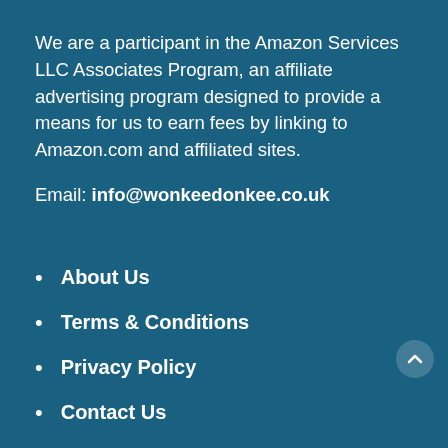We are a participant in the Amazon Services LLC Associates Program, an affiliate advertising program designed to provide a means for us to earn fees by linking to Amazon.com and affiliated sites.
Email: info@wonkeedonkee.co.uk
About Us
Terms & Conditions
Privacy Policy
Contact Us